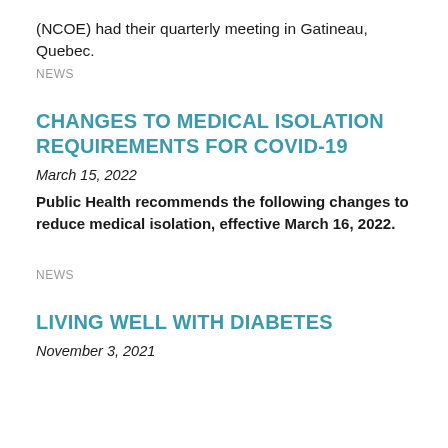(NCOE) had their quarterly meeting in Gatineau, Quebec.
NEWS
CHANGES TO MEDICAL ISOLATION REQUIREMENTS FOR COVID-19
March 15, 2022
Public Health recommends the following changes to reduce medical isolation, effective March 16, 2022.
NEWS
LIVING WELL WITH DIABETES
November 3, 2021